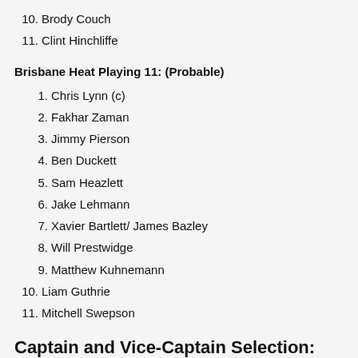10. Brody Couch
11. Clint Hinchliffe
Brisbane Heat Playing 11: (Probable)
1. Chris Lynn (c)
2. Fakhar Zaman
3. Jimmy Pierson
4. Ben Duckett
5. Sam Heazlett
6. Jake Lehmann
7. Xavier Bartlett/ James Bazley
8. Will Prestwidge
9. Matthew Kuhnemann
10. Liam Guthrie
11. Mitchell Swepson
Captain and Vice-Captain Selection:
Captain – Ben Duckett, Joe Clarke, Glenn Maxwell